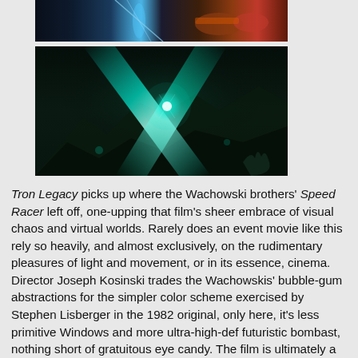[Figure (photo): Top cropped image showing a dark science fiction scene with blue light streaks and orange/red vehicles or craft, likely from Tron Legacy]
[Figure (photo): Main image showing a dark sci-fi scene with teal/green glowing light beams crossing in a dark environment, likely from Tron Legacy]
Tron Legacy picks up where the Wachowski brothers' Speed Racer left off, one-upping that film's sheer embrace of visual chaos and virtual worlds. Rarely does an event movie like this rely so heavily, and almost exclusively, on the rudimentary pleasures of light and movement, or in its essence, cinema. Director Joseph Kosinski trades the Wachowskis' bubble-gum abstractions for the simpler color scheme exercised by Stephen Lisberger in the 1982 original, only here, it's less primitive Windows and more ultra-high-def futuristic bombast, nothing short of gratuitous eye candy. The film is ultimately a black screen from which luminous whites, blues, and oranges emerge, darting wildly across the frame or just glowing in one spot comfortably, like the endless buzzing fluorescents one sees in a Lynch film. If